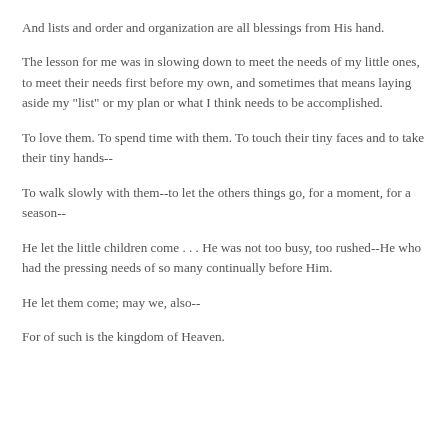And lists and order and organization are all blessings from His hand.
The lesson for me was in slowing down to meet the needs of my little ones, to meet their needs first before my own, and sometimes that means laying aside my "list" or my plan or what I think needs to be accomplished.
To love them. To spend time with them. To touch their tiny faces and to take their tiny hands--
To walk slowly with them--to let the others things go, for a moment, for a season--
He let the little children come . . . He was not too busy, too rushed--He who had the pressing needs of so many continually before Him.
He let them come; may we, also--
For of such is the kingdom of Heaven.